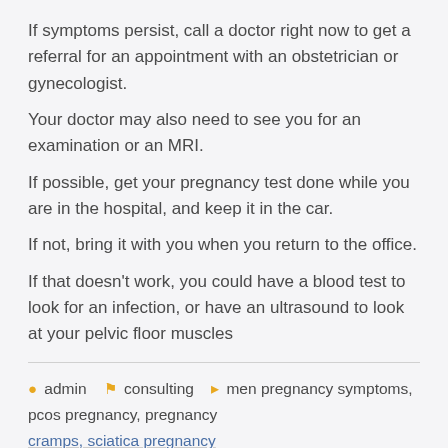If symptoms persist, call a doctor right now to get a referral for an appointment with an obstetrician or gynecologist.
Your doctor may also need to see you for an examination or an MRI.
If possible, get your pregnancy test done while you are in the hospital, and keep it in the car.
If not, bring it with you when you return to the office.
If that doesn't work, you could have a blood test to look for an infection, or have an ultrasound to look at your pelvic floor muscles
admin   consulting   men pregnancy symptoms, pcos pregnancy, pregnancy cramps, sciatica pregnancy